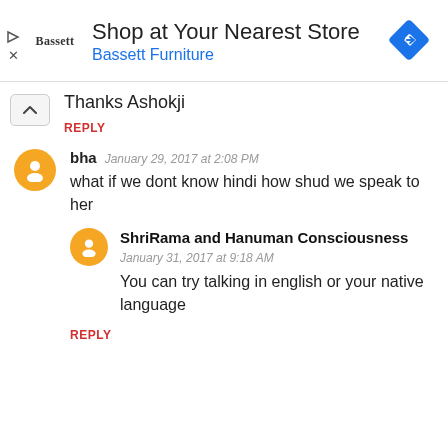[Figure (screenshot): Advertisement banner for Bassett Furniture: 'Shop at Your Nearest Store / Bassett Furniture' with Bassett logo and blue diamond navigation icon]
Thanks Ashokji
REPLY
bha  January 29, 2017 at 2:08 PM
what if we dont know hindi how shud we speak to her
ShriRama and Hanuman Consciousness
January 31, 2017 at 9:18 AM
You can try talking in english or your native language
REPLY